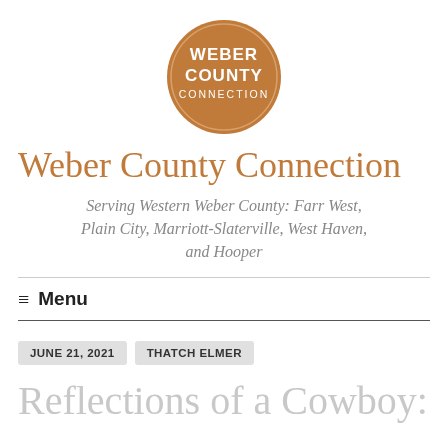[Figure (logo): Weber County Connection circular logo — brown/tan circle with white text reading WEBER COUNTY CONNECTION]
Weber County Connection
Serving Western Weber County: Farr West, Plain City, Marriott-Slaterville, West Haven, and Hooper
≡ Menu
JUNE 21, 2021
THATCH ELMER
Reflections of a Cowboy: